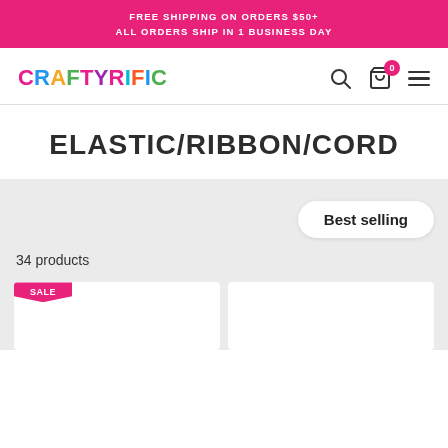FREE SHIPPING ON ORDERS $50+
ALL ORDERS SHIP IN 1 BUSINESS DAY
[Figure (logo): Craftyrific colorful logo text]
ELASTIC/RIBBON/CORD
Best selling
34 products
[Figure (other): Product card with SALE badge, partial view]
[Figure (other): Product card, partial view, no badge]